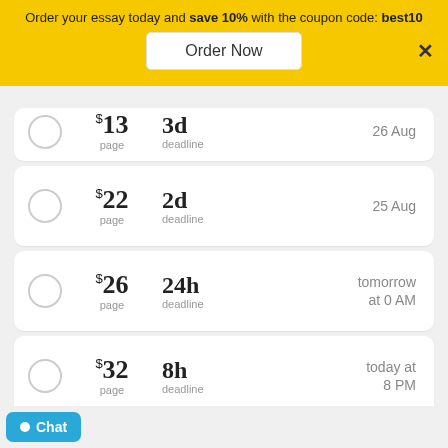Order your essay today and save 10% with the coupon code: best10
Order Now
|  | Price/page | Deadline | Date |
| --- | --- | --- | --- |
| ○ | $13/page | 3d deadline | 26 Aug |
| ○ | $22/page | 2d deadline | 25 Aug |
| ○ | $26/page | 24h deadline | tomorrow at 0 AM |
| ○ | $32/page | 8h deadline | today at 8 PM |
| ○ | $40/page | 4h deadline | today at 4 PM |
Chat